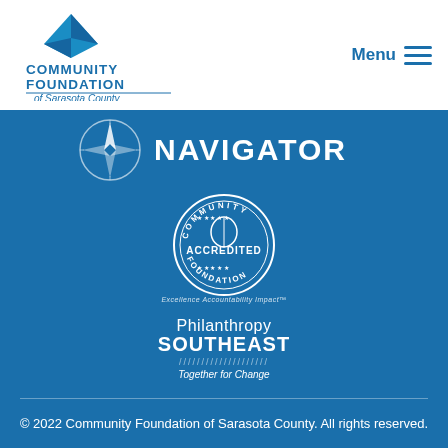[Figure (logo): Community Foundation of Sarasota County logo - blue diamond/mountain shape with COMMUNITY FOUNDATION of Sarasota County text]
[Figure (logo): Menu button with hamburger icon lines]
[Figure (logo): Charity Navigator logo - compass rose icon with NAVIGATOR text in white on blue background]
[Figure (logo): Community Accredited Foundation seal badge in white on blue background, with text Excellence Accountability Impact]
[Figure (logo): Philanthropy SOUTHEAST Together for Change logo in white on blue background]
© 2022 Community Foundation of Sarasota County. All rights reserved.